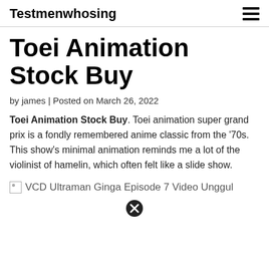Testmenwhosing
Toei Animation Stock Buy
by james | Posted on March 26, 2022
Toei Animation Stock Buy. Toei animation super grand prix is a fondly remembered anime classic from the '70s. This show's minimal animation reminds me a lot of the violinist of hamelin, which often felt like a slide show.
[Figure (other): Broken image placeholder with text: VCD Ultraman Ginga Episode 7 Video Unggul]
[Figure (other): Close/dismiss button icon — black circle with X]